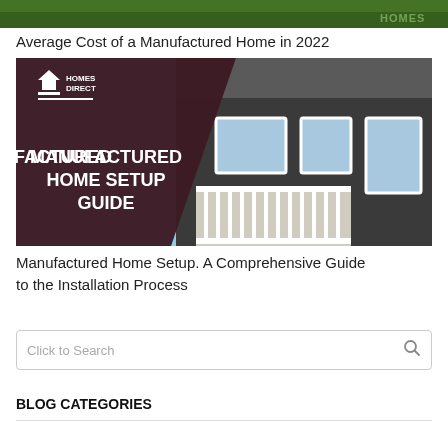[Figure (photo): Top partial image strip showing green grass/foliage with a 'HOMES' watermark text in the bottom right corner]
Average Cost of a Manufactured Home in 2022
[Figure (photo): Banner image for 'Manufactured Home Setup Guide' by Homes Direct, showing a dark maroon diagonal overlay with white text on the left and a photo of a manufactured home with white porch railings on the right]
Manufactured Home Setup. A Comprehensive Guide to the Installation Process
Click to Search
BLOG CATEGORIES